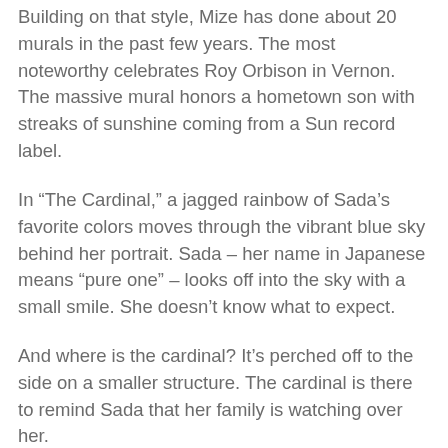Building on that style, Mize has done about 20 murals in the past few years. The most noteworthy celebrates Roy Orbison in Vernon. The massive mural honors a hometown son with streaks of sunshine coming from a Sun record label.
In “The Cardinal,” a jagged rainbow of Sada’s favorite colors moves through the vibrant blue sky behind her portrait. Sada – her name in Japanese means “pure one” – looks off into the sky with a small smile. She doesn’t know what to expect.
And where is the cardinal? It’s perched off to the side on a smaller structure. The cardinal is there to remind Sada that her family is watching over her.
Next time you’re out on the trails, keep your eyes open for the colorful creations popping up along the river. You can also follow @TrinityTrails on Instagram to see more